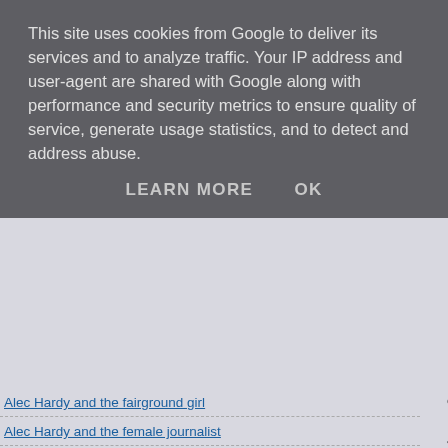This site uses cookies from Google to deliver its services and to analyze traffic. Your IP address and user-agent are shared with Google along with performance and security metrics to ensure quality of service, generate usage statistics, and to detect and address abuse.
LEARN MORE    OK
Alec Hardy and the fairground girl
Alec Hardy and the female journalist
Alec Hardy goes to Gracepoint
Alec Hardy and the maths tutor
Alec Hardy and the missing heiress
Alec Hardy and the mysterious heiress
Alec Hardy and rookie reporter
Alec Hardy and the school teacher
Alec Hardy and the shop girl
Alec Hardy and the vanishing money
Alec Hardy's happy New Year
Alec Hardy takes a chance
organising t
John Smith w
ends up work
Scroll down t
Chapter 1
Rose never m
Rose couldn't
"Sit down Ros